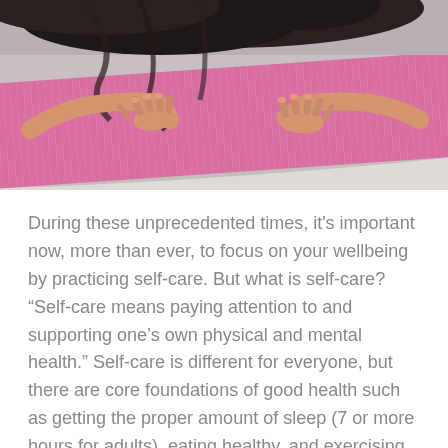[Figure (photo): A person lying on a pink yoga mat on a light wooden floor, with their arms stretched forward and hands flat on the mat, hair covering their face.]
During these unprecedented times, it’s important now, more than ever, to focus on your wellbeing by practicing self-care. But what is self-care? “Self-care means paying attention to and supporting one’s own physical and mental health.” Self-care is different for everyone, but there are core foundations of good health such as getting the proper amount of sleep (7 or more hours for adults), eating healthy, and exercising. While you’re staying at home, what are the best ways…